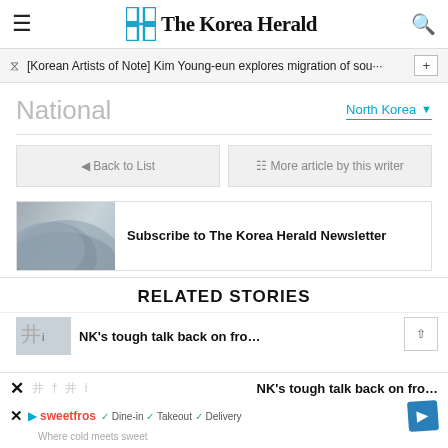The Korea Herald
[Korean Artists of Note] Kim Young-eun explores migration of sou…
National
North Korea
◄ Back to List
≡ More article by this writer
[Figure (illustration): Subscribe to The Korea Herald Newsletter banner with newspaper roll image]
RELATED STORIES
NK's tough talk back on fro…
✓ Dine-in  ✓ Takeout  ✓ Delivery
sweetfrog — Where cold meets sweet